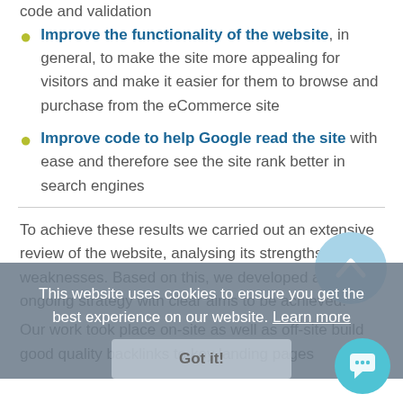code and validation
Improve the functionality of the website, in general, to make the site more appealing for visitors and make it easier for them to browse and purchase from the eCommerce site
Improve code to help Google read the site with ease and therefore see the site rank better in search engines
To achieve these results we carried out an extensive review of the website, analysing its strengths and its weaknesses. Based on this, we developed an ongoing strategy with clear aims to be achieved.
Our work took place on-site as well as off-site build good quality backlinks to key landing pages